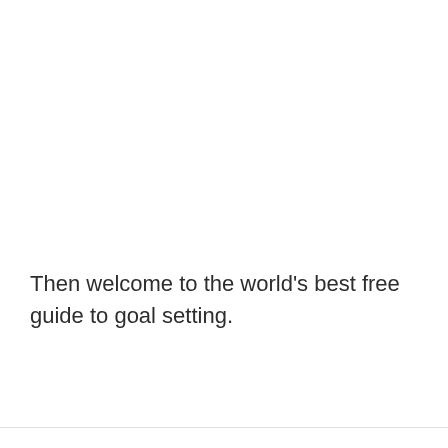Then welcome to the world's best free guide to goal setting.